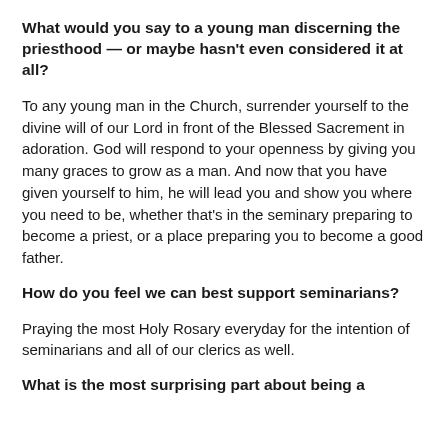What would you say to a young man discerning the priesthood — or maybe hasn't even considered it at all?
To any young man in the Church, surrender yourself to the divine will of our Lord in front of the Blessed Sacrement in adoration. God will respond to your openness by giving you many graces to grow as a man. And now that you have given yourself to him, he will lead you and show you where you need to be, whether that's in the seminary preparing to become a priest, or a place preparing you to become a good father.
How do you feel we can best support seminarians?
Praying the most Holy Rosary everyday for the intention of seminarians and all of our clerics as well.
What is the most surprising part about being a